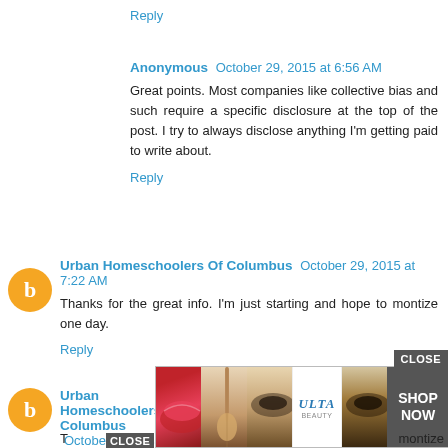Reply
Anonymous October 29, 2015 at 6:56 AM
Great points. Most companies like collective bias and such require a specific disclosure at the top of the post. I try to always disclose anything I'm getting paid to write about.
Reply
Urban Homeschoolers Of Columbus October 29, 2015 at 7:22 AM
Thanks for the great info. I'm just starting and hope to montize one day.
Reply
Urban Homeschoolers Of Columbus October 29, 2015 at 7:22 AM
[Figure (screenshot): Advertisement overlay with CLOSE button showing Ulta beauty products. Features makeup images (lips, brush, eye), Ulta logo, and SHOP NOW button on dark background.]
T... montize